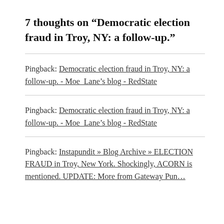7 thoughts on “Democratic election fraud in Troy, NY: a follow-up.”
Pingback: Democratic election fraud in Troy, NY: a follow-up. - Moe_Lane’s blog - RedState
Pingback: Democratic election fraud in Troy, NY: a follow-up. - Moe_Lane’s blog - RedState
Pingback: Instapundit » Blog Archive » ELECTION FRAUD in Troy, New York. Shockingly, ACORN is mentioned. UPDATE: More from Gateway Pun…